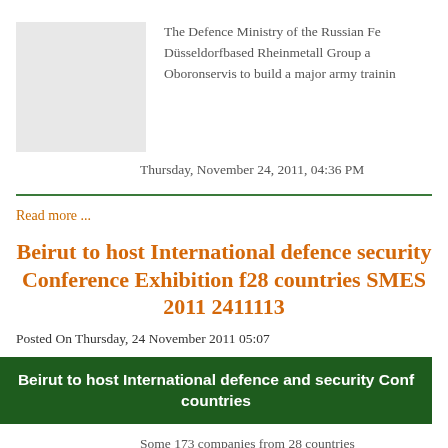[Figure (photo): Light gray placeholder image thumbnail]
The Defence Ministry of the Russian Fe Düsseldorfbased Rheinmetall Group a Oboronservis to build a major army trainin
Thursday, November 24, 2011, 04:36 PM
Read more ...
Beirut to host International defence security Conference Exhibition f28 countries SMES 2011 2411113
Posted On Thursday, 24 November 2011 05:07
[Figure (other): Green banner reading: Beirut to host International defence and security Conf countries]
Some 173 companies from 28 countries